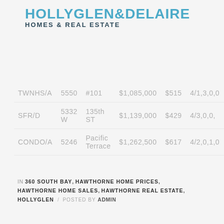[Figure (logo): HollyGlen & DeLaire Homes & Real Estate logo in teal/dark blue]
| TWNHS/A | 5550 | #101 | $1,085,000 | $515 | 4/1,3,0,0 |
| SFR/D | 5332 W | 135th ST | $1,139,000 | $429 | 4/3,0,0, |
| CONDO/A | 5246 | Pacific Terrace | $1,262,500 | $617 | 4/2,0,1,0 |
IN 360 SOUTH BAY, HAWTHORNE HOME PRICES, HAWTHORNE HOME SALES, HAWTHORNE REAL ESTATE, HOLLYGLEN / POSTED BY ADMIN